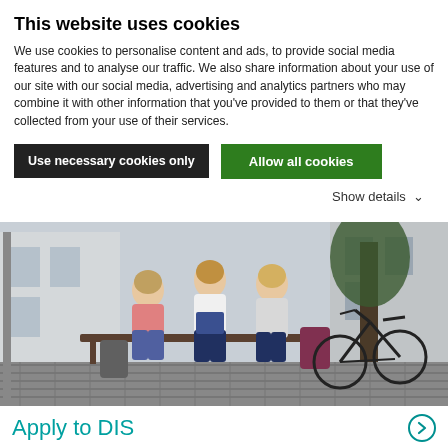This website uses cookies
We use cookies to personalise content and ads, to provide social media features and to analyse our traffic. We also share information about your use of our site with our social media, advertising and analytics partners who may combine it with other information that you've provided to them or that they've collected from your use of their services.
Use necessary cookies only
Allow all cookies
Show details ▾
[Figure (photo): Three students (two women and one man) sitting on a bench outdoors, looking at books/notebooks. Bicycles parked nearby against a tree. Cobblestone street setting.]
Apply to DIS